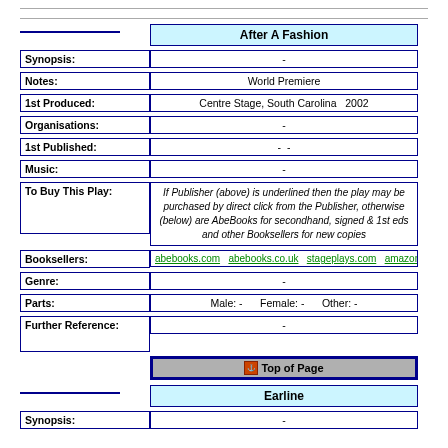After A Fashion
Synopsis: -
Notes: World Premiere
1st Produced: Centre Stage, South Carolina   2002
Organisations: -
1st Published: - -
Music: -
To Buy This Play: If Publisher (above) is underlined then the play may be purchased by direct click from the Publisher, otherwise (below) are AbeBooks for secondhand, signed & 1st eds and other Booksellers for new copies
Booksellers: abebooks.com  abebooks.co.uk  stageplays.com  amazon.com  amazon.co.uk  am
Genre: -
Parts: Male: -   Female: -   Other: -
Further Reference: -
Top of Page
Earline
Synopsis: -